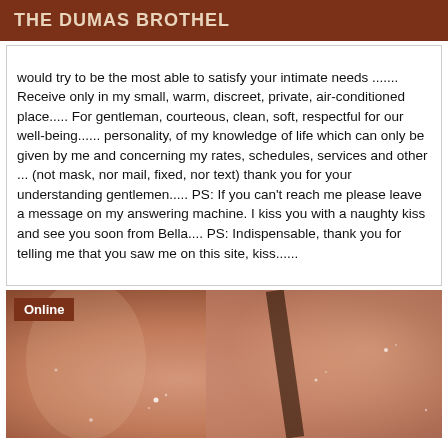THE DUMAS BROTHEL
would try to be the most able to satisfy your intimate needs ....... Receive only in my small, warm, discreet, private, air-conditioned place..... For gentleman, courteous, clean, soft, respectful for our well-being...... personality, of my knowledge of life which can only be given by me and concerning my rates, schedules, services and other ... (not mask, nor mail, fixed, nor text) thank you for your understanding gentlemen..... PS: If you can't reach me please leave a message on my answering machine. I kiss you with a naughty kiss and see you soon from Bella.... PS: Indispensable, thank you for telling me that you saw me on this site, kiss......
[Figure (photo): A blurred close-up photo with warm pinkish-brown tones, showing an abstract partial figure with sparkle/light effects. An 'Online' badge is overlaid in the top-left corner.]